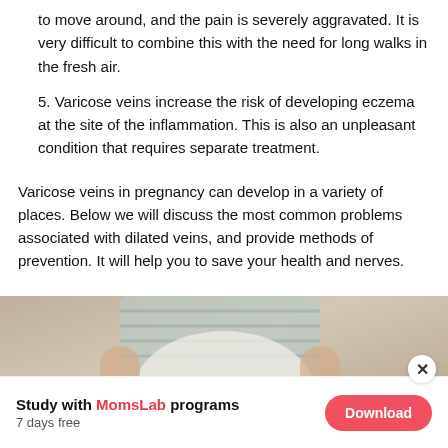to move around, and the pain is severely aggravated. It is very difficult to combine this with the need for long walks in the fresh air.
5. Varicose veins increase the risk of developing eczema at the site of the inflammation. This is also an unpleasant condition that requires separate treatment.
Varicose veins in pregnancy can develop in a variety of places. Below we will discuss the most common problems associated with dilated veins, and provide methods of prevention. It will help you to save your health and nerves.
[Figure (photo): Pregnant woman sitting on a sofa, visible torso area, wearing a striped top and white clothing]
Study with MomsLab programs
7 days free